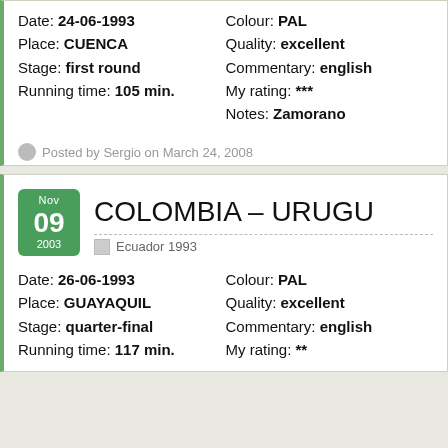Date: 24-06-1993
Place: CUENCA
Stage: first round
Running time: 105 min.
Colour: PAL
Quality: excellent
Commentary: english
My rating: ***
Notes: Zamorano
Posted by Sergio on March 24, 2008
COLOMBIA – URUGU
Ecuador 1993
Date: 26-06-1993
Place: GUAYAQUIL
Stage: quarter-final
Running time: 117 min.
Colour: PAL
Quality: excellent
Commentary: english
My rating: **